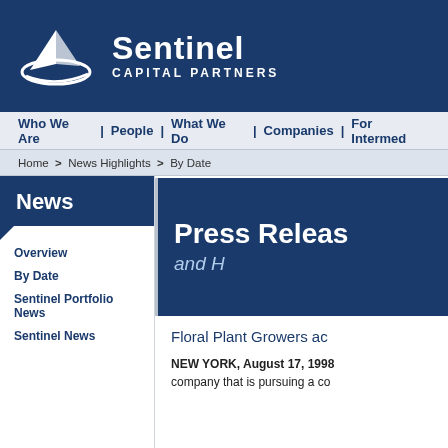[Figure (logo): Sentinel Capital Partners logo with white sailboat-style icon and white text on dark blue background]
Who We Are  |  People  |  What We Do  |  Companies  |  For Intermed...
Home > News Highlights > By Date
News
Overview
By Date
Sentinel Portfolio News
Sentinel News
[Figure (screenshot): Press Release and Highlights banner in dark navy blue with white bold title text 'Press Releas...' and italic 'and H...']
Floral Plant Growers ac...
NEW YORK, August 17, 1998 — company that is pursuing a co...